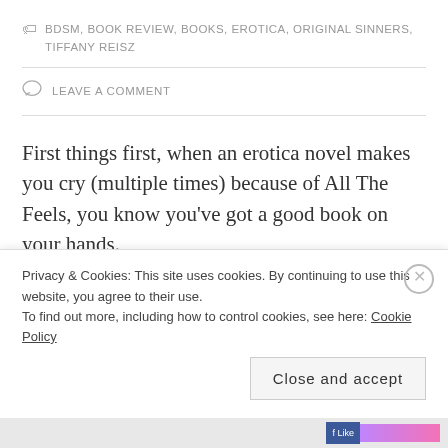BDSM, BOOK REVIEW, BOOKS, EROTICA, ORIGINAL SINNERS, TIFFANY REISZ
LEAVE A COMMENT
First things first, when an erotica novel makes you cry (multiple times) because of All The Feels, you know you've got a good book on your hands.
Two and half years ago, I read my first-ever erotica novel, The Siren by Tiffany Reisz. I blogged about that experience on my old blog, and you can find it there
Privacy & Cookies: This site uses cookies. By continuing to use this website, you agree to their use.
To find out more, including how to control cookies, see here: Cookie Policy
Close and accept